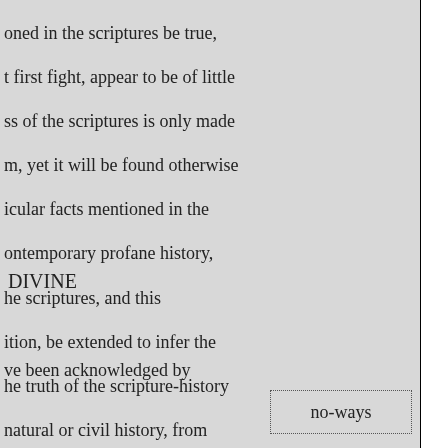oned in the scriptures be true, t first fight, appear to be of little ss of the scriptures is only made m, yet it will be found otherwise icular facts mentioned in the ontemporary profane history, he scriptures, and this ition, be extended to infer the he truth of the scripture-history natural or civil history, from
DIVINE
ve been acknowledged by
no-ways
lishment of the prophecies were forgeries. But the same ny of them having enuine. I reserve the prophetical